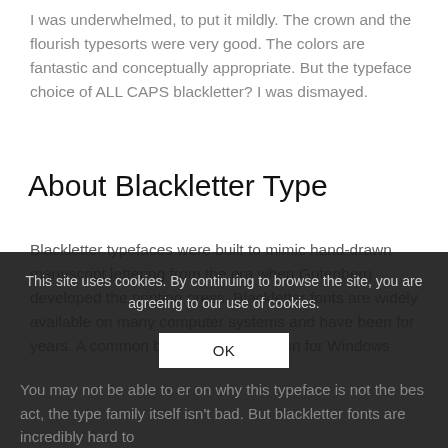I was underwhelmed, to put it mildly. The crown and the flourish typesorts were very good. The colors are fantastic and conceptually appropriate. But the typeface choice of ALL CAPS blackletter? I was dismayed.
About Blackletter Type
Blackletter typefaces were built to mimic hand-drawn manuscript lettering from the era when Gutenberg developed the printing press. Blackletter fonts are widely available on many computer systems and have been for years. A common blackletter font option for Windows
This site uses cookies. By continuing to browse the site, you are agreeing to our use of cookies.
You may not be able to ... er on why this typeface is not the bes... act, the type family itself isn't bad. But blackletter fonts are incredibly hard to